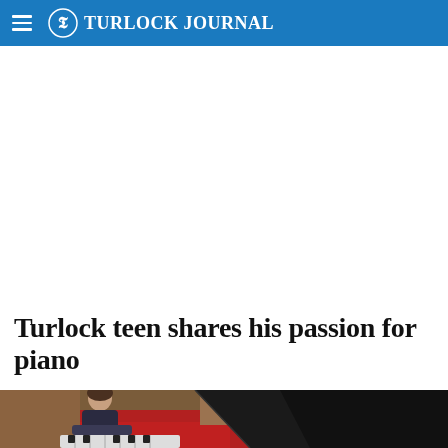Turlock Journal
Turlock teen shares his passion for piano
[Figure (photo): A teenage boy seated at a grand piano in what appears to be a church or auditorium setting with red carpeted steps and wooden paneling in the background. The piano lid is open and the teen is playing.]